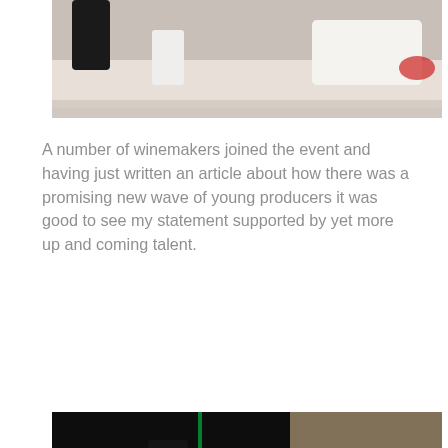[Figure (photo): Partial photo at top of page showing wine bottles and a white bag on a table, cropped at the top.]
A number of winemakers joined the event and having just written an article about how there was a promising new wave of young producers it was good to see my statement supported by yet more up and coming talent.
[Figure (photo): Two photos side by side: left photo shows three dark wine bottles with handwritten labels on a dark background; right photo shows a woman and a man standing next to a barrel with wine bottles on top.]
One of those was a friend from the Languedoc, Sébastien